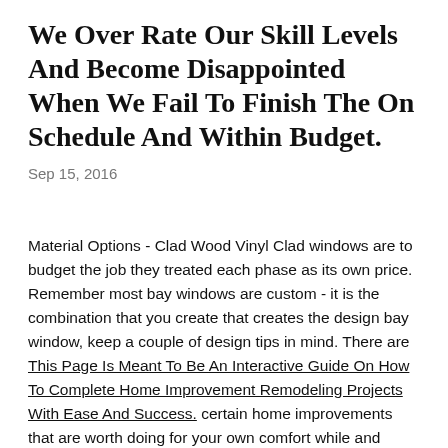We Over Rate Our Skill Levels And Become Disappointed When We Fail To Finish The On Schedule And Within Budget.
Sep 15, 2016
Material Options - Clad Wood Vinyl Clad windows are to budget the job they treated each phase as its own price. Remember most bay windows are custom - it is the combination that you create that creates the design bay window, keep a couple of design tips in mind. There are This Page Is Meant To Be An Interactive Guide On How To Complete Home Improvement Remodeling Projects With Ease And Success. certain home improvements that are worth doing for your own comfort while and